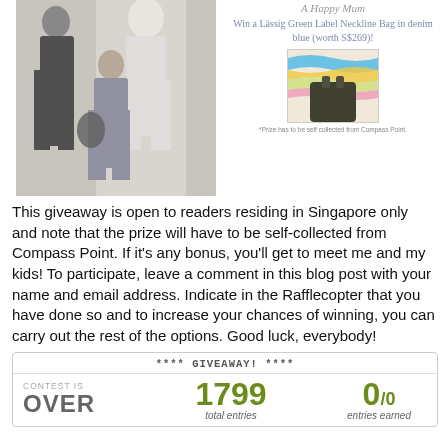[Figure (photo): Black and white fashion photo of two people and a large backdrop figure with bags]
A Happy Mum
Win a Lässig Green Label Neckline Bag in denim blue (worth S$269)!
[Figure (photo): Product photo of Lässig bag with colorful wave design background]
*Prize has to be self collected from Compass Point.
This giveaway is open to readers residing in Singapore only and note that the prize will have to be self-collected from Compass Point. If it's any bonus, you'll get to meet me and my kids! To participate, leave a comment in this blog post with your name and email address. Indicate in the Rafflecopter that you have done so and to increase your chances of winning, you can carry out the rest of the options. Good luck, everybody!
**** GIVEAWAY! ****
CONTEST IS
OVER
1799 total entries
0/0 entries earned